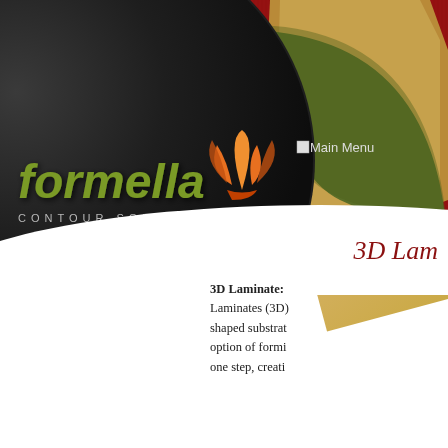[Figure (illustration): Formella Contour Solutions company branding page with dark circular logo area, red wood-grain background, green arc ribbon, gold/tan strip, orange flame logo mark, and white content area below.]
3D Lam
3D Laminate: Laminates (3D) shaped substrat option of formi one step, creati